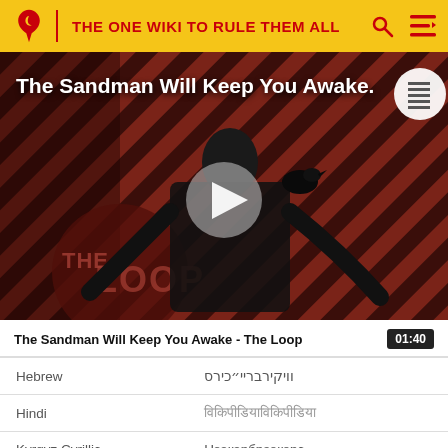THE ONE WIKI TO RULE THEM ALL
[Figure (screenshot): Video thumbnail showing a dark-cloaked figure with a crow, diagonal striped red/dark background, play button overlay, 'THE LOOP' logo at bottom left. Title reads 'The Sandman Will Keep You Awake.']
The Sandman Will Keep You Awake - The Loop
| Language | Text |
| --- | --- |
| Hebrew | וויקירבריי״כירס |
| Hindi | विकिपीडियाविकिपीडिया |
| Kyrgyz Cyrillic | Нээкэрбрээкэрс |